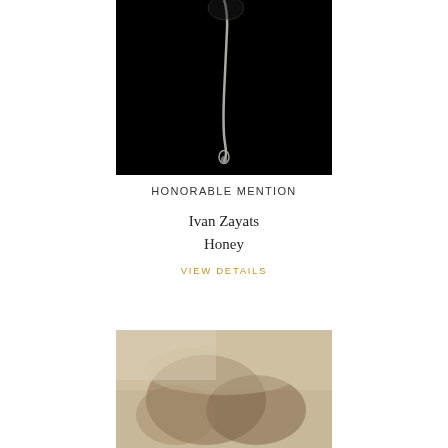[Figure (photo): Close-up of honey dripping from a spoon against a black background, the viscous liquid forming a long strand with a droplet at the end]
HONORABLE MENTION
Ivan Zayats
Honey
VIEW DETAILS
[Figure (photo): Sepia-toned photograph of hands touching or gesturing, with soft fabric in the background]